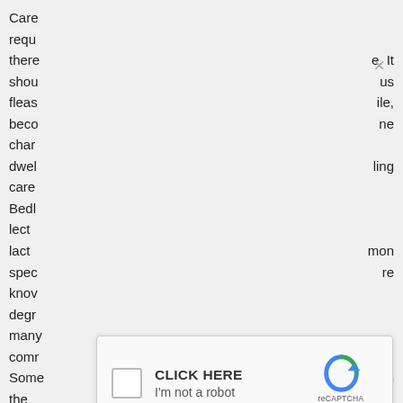Care requ there e. It shou us fleas ile, beco ne char dwel ling care Bedl lect lact mon spec re knov degr many comr a. Some in the After enca on and
[Figure (screenshot): A reCAPTCHA widget overlay with 'CLICK HERE' heading, 'I'm not a robot' text, a checkbox on the left, and the reCAPTCHA logo with Privacy and Terms links on the right. A close (X) button appears above the widget.]